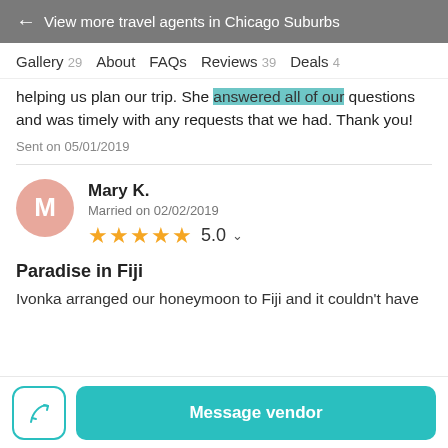← View more travel agents in Chicago Suburbs
Gallery 29  About  FAQs  Reviews 39  Deals 4
helping us plan our trip. She answered all of our questions and was timely with any requests that we had. Thank you!
Sent on 05/01/2019
Mary K.
Married on 02/02/2019
★★★★★ 5.0
Paradise in Fiji
Ivonka arranged our honeymoon to Fiji and it couldn't have
Message vendor